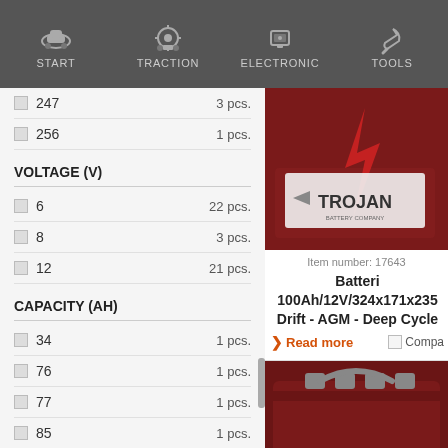START | TRACTION | ELECTRONIC | TOOLS
247   3 pcs.
256   1 pcs.
VOLTAGE (V)
6   22 pcs.
8   3 pcs.
12   21 pcs.
CAPACITY (AH)
34   1 pcs.
76   1 pcs.
77   1 pcs.
85   1 pcs.
89   1 pcs.
Item number: 17643
Batteri 100Ah/12V/324x171x235 Drift - AGM - Deep Cycle
Read more   Compare
[Figure (photo): Trojan brand deep cycle battery - red/maroon colored battery with Trojan logo and lightning bolt]
[Figure (photo): Trojan brand Motive 12 Volt deep cycle battery - red/maroon colored battery with MOTIVE label and Trojan logo]